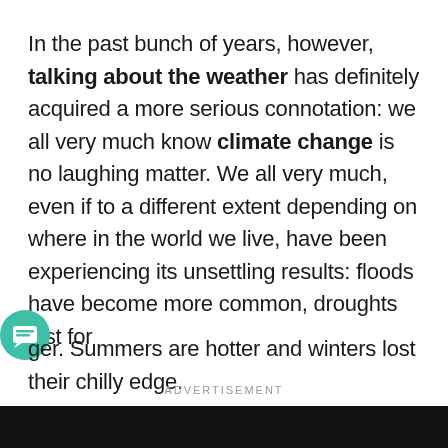In the past bunch of years, however, talking about the weather has definitely acquired a more serious connotation: we all very much know climate change is no laughing matter. We all very much, even if to a different extent depending on where in the world we live, have been experiencing its unsettling results: floods have become more common, droughts last for longer. Summers are hotter and winters lost their chilly edge.
ADVERTISEMENT